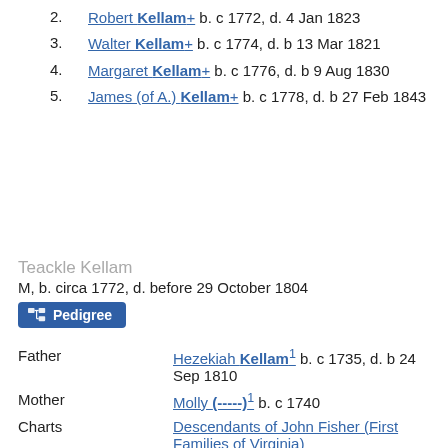2. Robert Kellam+ b. c 1772, d. 4 Jan 1823
3. Walter Kellam+ b. c 1774, d. b 13 Mar 1821
4. Margaret Kellam+ b. c 1776, d. b 9 Aug 1830
5. James (of A.) Kellam+ b. c 1778, d. b 27 Feb 1843
Teackle Kellam
M, b. circa 1772, d. before 29 October 1804
Pedigree
|  |  |
| --- | --- |
| Father | Hezekiah Kellam1 b. c 1735, d. b 24 Sep 1810 |
| Mother | Molly (-----)1 b. c 1740 |
| Charts | Descendants of John Fisher (First Families of Virginia) |